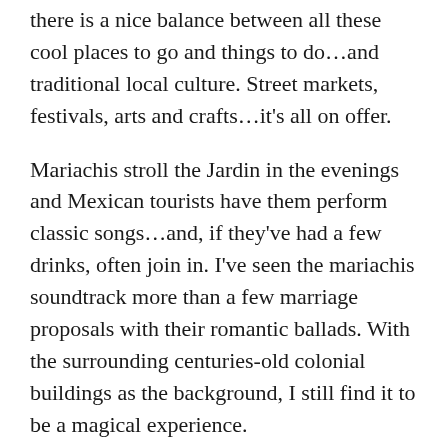there is a nice balance between all these cool places to go and things to do...and traditional local culture. Street markets, festivals, arts and crafts...it's all on offer.
Mariachis stroll the Jardin in the evenings and Mexican tourists have them perform classic songs...and, if they've had a few drinks, often join in. I've seen the mariachis soundtrack more than a few marriage proposals with their romantic ballads. With the surrounding centuries-old colonial buildings as the background, I still find it to be a magical experience.